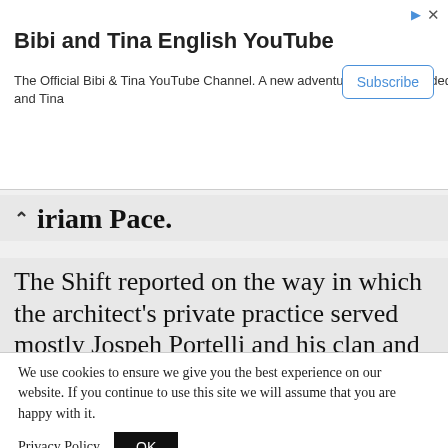[Figure (screenshot): Advertisement banner for 'Bibi and Tina English YouTube' channel with Subscribe button, play and close icons]
Miriam Pace.
The Shift reported on the way in which the architect's private practice served mostly Jospeh Portelli and his clan and depended almost entirely on his projects. This immediately raised
We use cookies to ensure we give you the best experience on our website. If you continue to use this site we will assume that you are happy with it.
Privacy Policy  OK